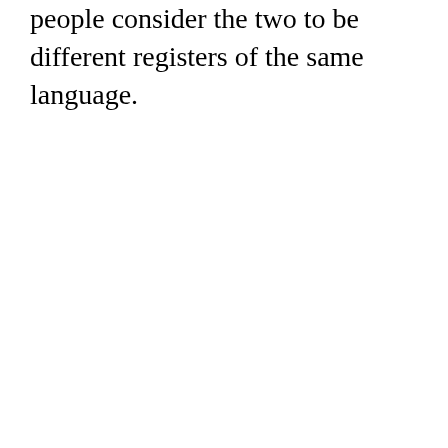people consider the two to be different registers of the same language.